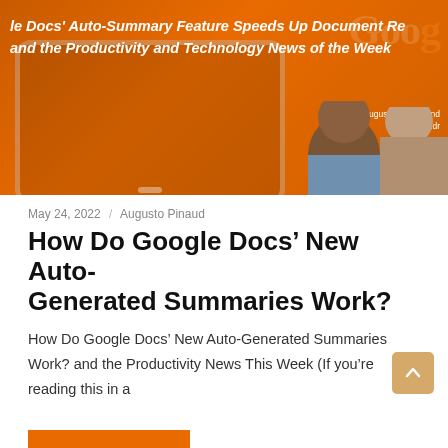[Figure (photo): Orange banner image showing a tablet on an orange background with two people (Augusto Pinaud and Ray Sidr) visible on the right side, with bold italic white text overlay reading 'le Docs' Auto-Summary Feature Speeds Up Document Re and the Productivity and Technology News of the Week']
May 24, 2022 / Augusto Pinaud
How Do Google Docs' New Auto-Generated Summaries Work?
How Do Google Docs' New Auto-Generated Summaries Work? and the Productivity News This Week (If you're reading this in a